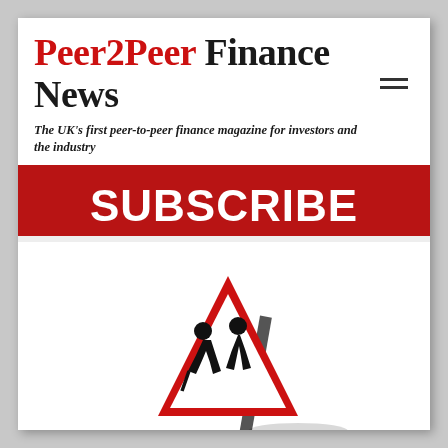Peer2Peer Finance News
The UK's first peer-to-peer finance magazine for investors and the industry
[Figure (other): Red SUBSCRIBE banner button]
[Figure (illustration): Warning road sign triangle with elderly people walking silhouette, shown at an angle with a post]